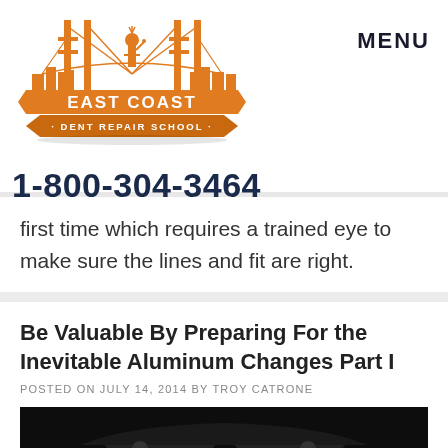[Figure (logo): East Coast Dent Repair School logo with orange bridge/Statue of Liberty graphic and banner]
MENU
1-800-304-3464
first time which requires a trained eye to make sure the lines and fit are right.
Be Valuable By Preparing For the Inevitable Aluminum Changes Part I
POSTED ON JULY 14, 2014 BY TROY CATRONE
[Figure (photo): Black and white photo of a car, partially visible at bottom of page]